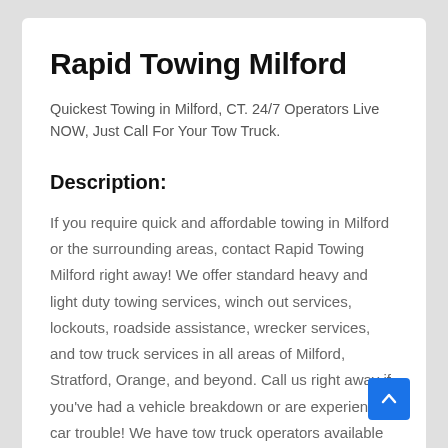Rapid Towing Milford
Quickest Towing in Milford, CT. 24/7 Operators Live NOW, Just Call For Your Tow Truck.
Description:
If you require quick and affordable towing in Milford or the surrounding areas, contact Rapid Towing Milford right away! We offer standard heavy and light duty towing services, winch out services, lockouts, roadside assistance, wrecker services, and tow truck services in all areas of Milford, Stratford, Orange, and beyond. Call us right away if you've had a vehicle breakdown or are experiencing car trouble! We have tow truck operators available to help you get back on the road